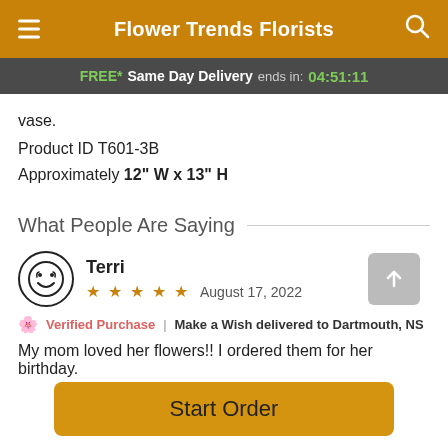Flower Trends Florists
FREE* Same Day Delivery ends in: 04:51:11
vase.
Product ID T601-3B
Approximately 12" W x 13" H
What People Are Saying
Terri
★★★★★ August 17, 2022
💗 Verified Purchase | Make a Wish delivered to Dartmouth, NS
My mom loved her flowers!! I ordered them for her birthday.
Start Order